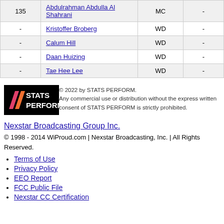|  |  |  |  |
| --- | --- | --- | --- |
| 135 | Abdulrahman Abdulla Al Shahrani | MC | - |
| - | Kristoffer Broberg | WD | - |
| - | Calum Hill | WD | - |
| - | Daan Huizing | WD | - |
| - | Tae Hee Lee | WD | - |
[Figure (logo): STATS PERFORM logo — black background with pink/orange double-slash mark and white text reading STATS PERFORM]
© 2022 by STATS PERFORM. Any commercial use or distribution without the express written consent of STATS PERFORM is strictly prohibited.
Nexstar Broadcasting Group Inc.
© 1998 - 2014 WiProud.com | Nexstar Broadcasting, Inc. | All Rights Reserved.
Terms of Use
Privacy Policy
EEO Report
FCC Public File
Nexstar CC Certification